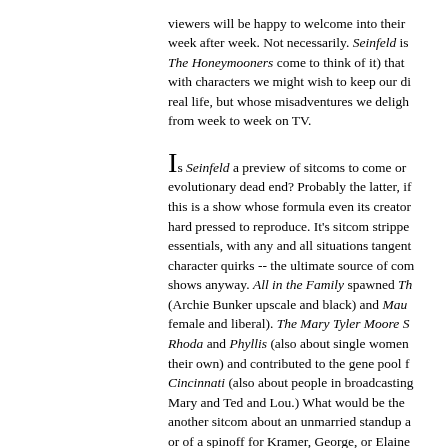viewers will be happy to welcome into their week after week. Not necessarily. Seinfeld is The Honeymooners come to think of it) that with characters we might wish to keep our di real life, but whose misadventures we deligh from week to week on TV.
Is Seinfeld a preview of sitcoms to come or evolutionary dead end? Probably the latter, if this is a show whose formula even its creato hard pressed to reproduce. It's sitcom strippe essentials, with any and all situations tangent character quirks -- the ultimate source of com shows anyway. All in the Family spawned Th (Archie Bunker upscale and black) and Maud female and liberal). The Mary Tyler Moore S Rhoda and Phyllis (also about single women their own) and contributed to the gene pool f Cincinnati (also about people in broadcasting Mary and Ted and Lou.) What would be the another sitcom about an unmarried standup a or of a spinoff for Kramer, George, or Elaine one of this season's new sitcoms arguably in Seinfeld's deliberately prosaic style of humou